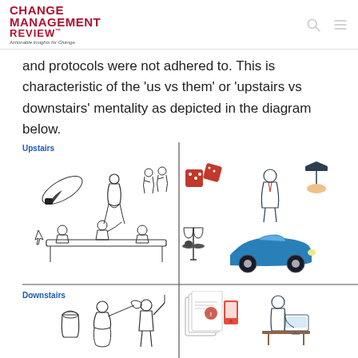CHANGE MANAGEMENT REVIEW™ — Actionable Insights for Change
and protocols were not adhered to. This is characteristic of the 'us vs them' or 'upstairs vs downstairs' mentality as depicted in the diagram below.
[Figure (infographic): A four-quadrant diagram with a vertical and horizontal axis. Top-left quadrant labeled 'Upstairs' shows Victorian-era black-and-white illustrations of upper-class people dancing, a woman in period dress, and a formal dinner party scene. Top-right quadrant shows colorful modern icons: dice, a businessman figure, a graduation cap hand, a justice scales, and a blue vintage car. Bottom-left quadrant labeled 'Downstairs' shows black-and-white illustrations of servants/working class people with a bucket and cleaning equipment. Bottom-right quadrant shows colorful modern icons: documents, a person working at a desk, and a figure.]